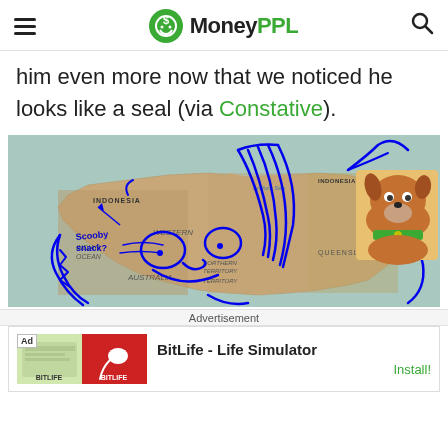MoneyPPL
him even more now that we noticed he looks like a seal (via Constative).
[Figure (map): Map of Australia with blue hand-drawn lines forming a cartoon face (resembling Scooby-Doo) over Australia. Text 'Scooby snack?' written in blue. Scooby-Doo cartoon image in top right corner. Labels: INDONESIA, INDIAN OCEAN, WESTERN AUSTRALIA, NORTHERN TERRITORY, QUEENSLAND, Coral Sea, Timor Sea, Arafura Sea.]
Advertisement
[Figure (screenshot): Ad banner for BitLife - Life Simulator app with Install button]